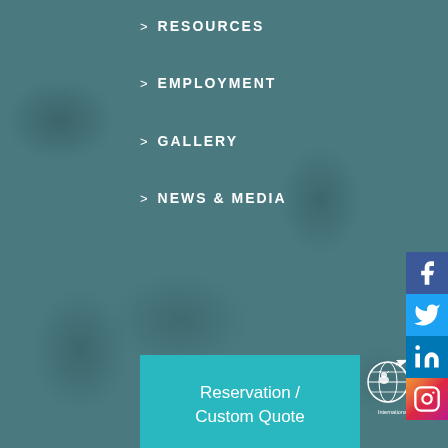> RESOURCES
> EMPLOYMENT
> GALLERY
> NEWS & MEDIA
Reservation / Custom Quote
[Figure (logo): IPATA - The Pet Shipping Experts logo. International Pet and Animal Transportation Association.]
[Figure (logo): ATA - Animal Transportation Association logo.]
[Figure (infographic): Social media icons: Facebook (blue), Twitter (light blue), LinkedIn (blue), Instagram (gradient).]